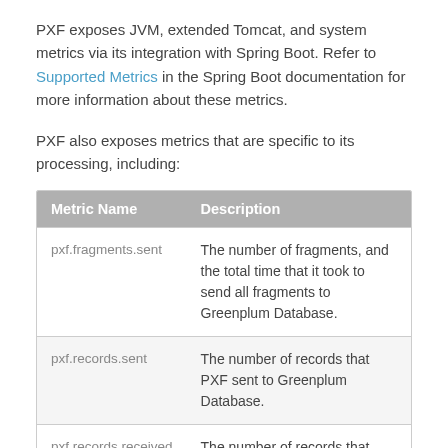PXF exposes JVM, extended Tomcat, and system metrics via its integration with Spring Boot. Refer to Supported Metrics in the Spring Boot documentation for more information about these metrics.
PXF also exposes metrics that are specific to its processing, including:
| Metric Name | Description |
| --- | --- |
| pxf.fragments.sent | The number of fragments, and the total time that it took to send all fragments to Greenplum Database. |
| pxf.records.sent | The number of records that PXF sent to Greenplum Database. |
| pxf.records.received | The number of records that PXF received from Greenplum Database. |
| pxf.bytes.sent | The number of bytes that PXF |